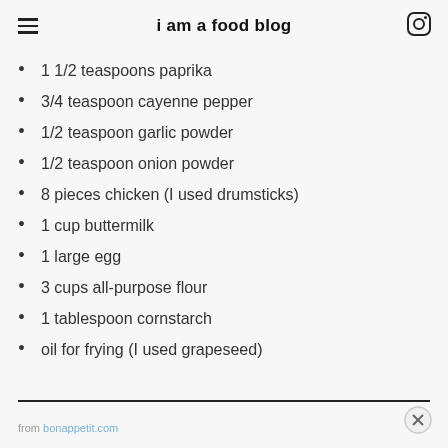i am a food blog
1 1/2 teaspoons paprika
3/4 teaspoon cayenne pepper
1/2 teaspoon garlic powder
1/2 teaspoon onion powder
8 pieces chicken (I used drumsticks)
1 cup buttermilk
1 large egg
3 cups all-purpose flour
1 tablespoon cornstarch
oil for frying (I used grapeseed)
from bonappetit.com